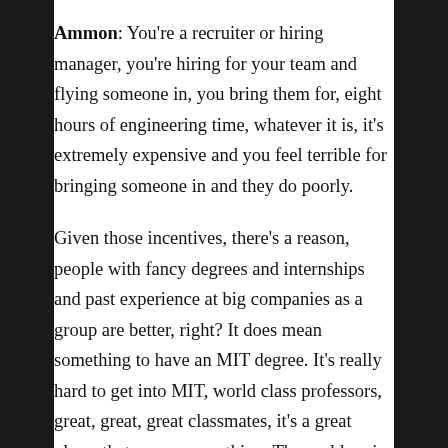Ammon: You're a recruiter or hiring manager, you're hiring for your team and flying someone in, you bring them for, eight hours of engineering time, whatever it is, it's extremely expensive and you feel terrible for bringing someone in and they do poorly.
Given those incentives, there's a reason, people with fancy degrees and internships and past experience at big companies as a group are better, right? It does mean something to have an MIT degree. It's really hard to get into MIT, world class professors, great, great, great classmates, it's a great place, that means something. The problem is, that only a tiny fraction of people had